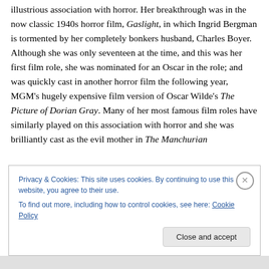illustrious association with horror. Her breakthrough was in the now classic 1940s horror film, Gaslight, in which Ingrid Bergman is tormented by her completely bonkers husband, Charles Boyer. Although she was only seventeen at the time, and this was her first film role, she was nominated for an Oscar in the role; and was quickly cast in another horror film the following year, MGM's hugely expensive film version of Oscar Wilde's The Picture of Dorian Gray. Many of her most famous film roles have similarly played on this association with horror and she was brilliantly cast as the evil mother in The Manchurian
Privacy & Cookies: This site uses cookies. By continuing to use this website, you agree to their use.
To find out more, including how to control cookies, see here: Cookie Policy